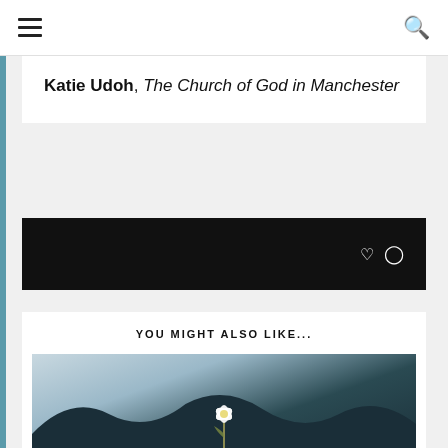Navigation header with hamburger menu and search icon
Katie Udoh, The Church of God in Manchester
[Figure (other): Black bar with like and comment icons on the right]
YOU MIGHT ALSO LIKE...
[Figure (photo): A single white flower against a dark mountainous background with sky]